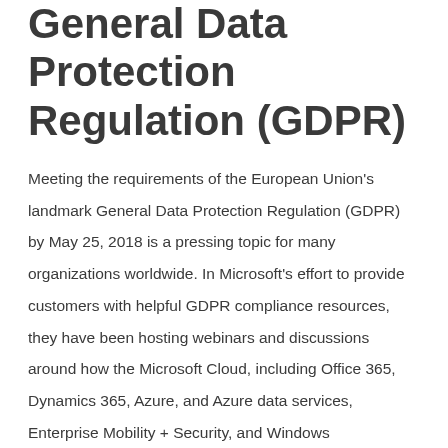General Data Protection Regulation (GDPR)
Meeting the requirements of the European Union's landmark General Data Protection Regulation (GDPR) by May 25, 2018 is a pressing topic for many organizations worldwide. In Microsoft's effort to provide customers with helpful GDPR compliance resources, they have been hosting webinars and discussions around how the Microsoft Cloud, including Office 365, Dynamics 365, Azure, and Azure data services, Enterprise Mobility + Security, and Windows